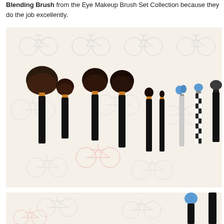Blending Brush from the Eye Makeup Brush Set Collection because they do the job excellently.
[Figure (photo): A flat lay photo of multiple makeup brushes with black handles and copper/gold ferrules, arranged horizontally on a white background with illustrated bicycle pattern. The brushes vary in size from large powder brushes on the left to small eye brushes and tools on the right.]
[Figure (photo): Partial view of makeup brushes on bicycle-patterned background, cropped showing a blue-tipped brush and black handle brush.]